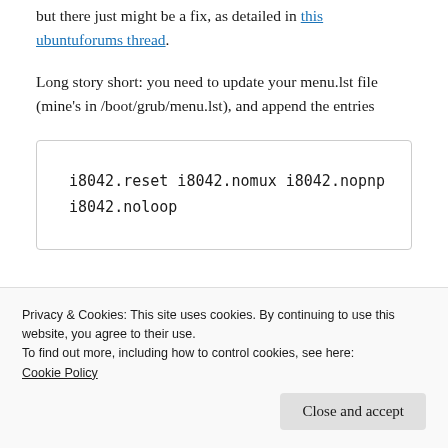but there just might be a fix, as detailed in this ubuntuforums thread.
Long story short: you need to update your menu.lst file (mine's in /boot/grub/menu.lst), and append the entries
i8042.reset i8042.nomux i8042.nopnp i8042.noloop
Privacy & Cookies: This site uses cookies. By continuing to use this website, you agree to their use.
To find out more, including how to control cookies, see here: Cookie Policy